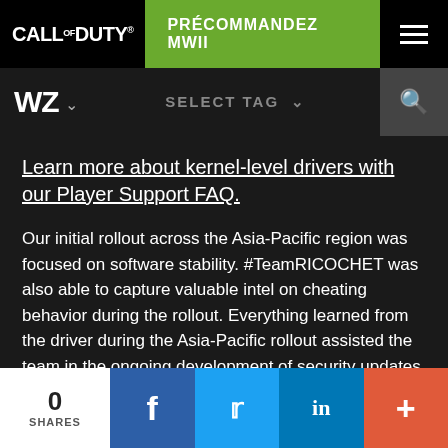CALL OF DUTY® | PRÉCOMMANDEZ MWII
WZ ∨ | SELECT TAG ∨ | 🔍
Learn more about kernel-level drivers with our Player Support FAQ.
Our initial rollout across the Asia-Pacific region was focused on software stability. #TeamRICOCHET was also able to capture valuable intel on cheating behavior during the rollout. Everything learned from the driver during the Asia-Pacific rollout assisted the team in the ongoing development of security updates for all users, regardless of region. The driver will be released for Call of Duty: Vanguard at a later date.
0 SHARES | Facebook | Twitter | LinkedIn | +